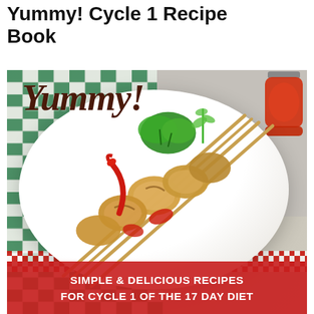Yummy! Cycle 1 Recipe Book
[Figure (photo): Book cover for 'Yummy! Cycle 1 Recipe Book' showing chicken skewers on a white plate with fresh herbs and red chili peppers, on a green checkered tablecloth. A script 'Yummy!' text overlays the top. A red banner at the bottom reads 'SIMPLE & DELICIOUS RECIPES FOR CYCLE 1 OF THE 17 DAY DIET'.]